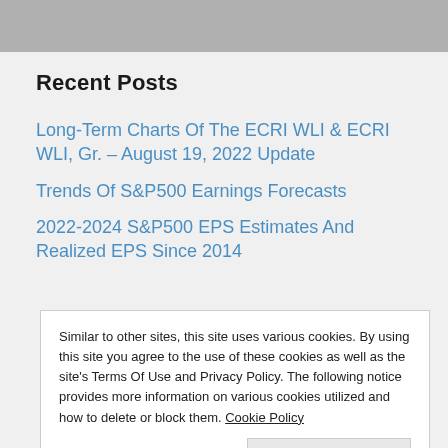Recent Posts
Long-Term Charts Of The ECRI WLI & ECRI WLI, Gr. – August 19, 2022 Update
Trends Of S&P500 Earnings Forecasts
2022-2024 S&P500 EPS Estimates And Realized EPS Since 2014
Similar to other sites, this site uses various cookies. By using this site you agree to the use of these cookies as well as the site's Terms Of Use and Privacy Policy. The following notice provides more information on various cookies utilized and how to delete or block them. Cookie Policy
Close and accept
Index (NFCI)